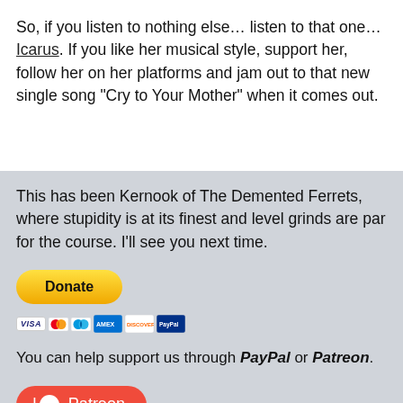So, if you listen to nothing else… listen to that one… Icarus. If you like her musical style, support her, follow her on her platforms and jam out to that new single song “Cry to Your Mother” when it comes out.
This has been Kernook of The Demented Ferrets, where stupidity is at its finest and level grinds are par for the course. I’ll see you next time.
[Figure (other): PayPal Donate button with credit card icons (Visa, Mastercard, Maestro, American Express, Discover, PayPal)]
You can help support us through PayPal or Patreon.
[Figure (other): Patreon button with Patreon logo and text]